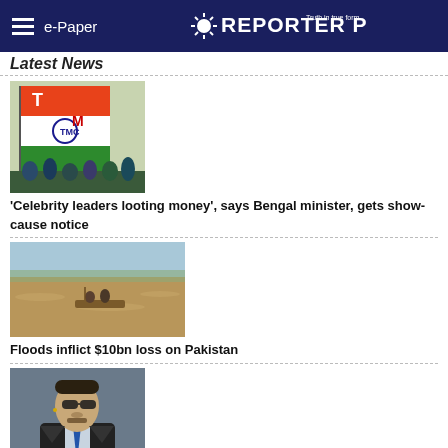e-Paper | REPORTER POST
LATEST NEWS
[Figure (photo): TMC party flag being carried by supporters]
'Celebrity leaders looting money', says Bengal minister, gets show-cause notice
[Figure (photo): People on a makeshift raft floating in flood waters in Pakistan]
Floods inflict $10bn loss on Pakistan
[Figure (photo): Johnny Depp in dark suit and sunglasses]
Depp springs a surpise with 'Moon Person' appearance at MTV VMAs 2022